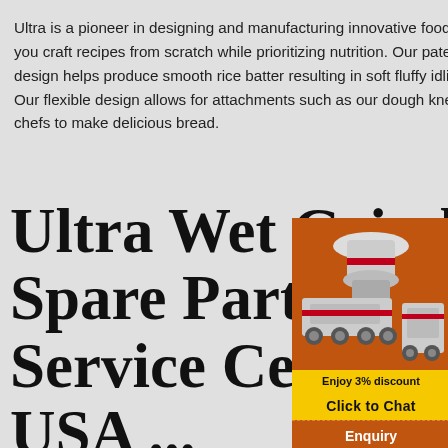Ultra is a pioneer in designing and manufacturing innovative food grinders that help you craft recipes from scratch while prioritizing nutrition. Our patented conical stone design helps produce smooth rice batter resulting in soft fluffy idlis and tasty dosas. Our flexible design allows for attachments such as our dough kneader allowing home chefs to make delicious bread.
Ultra Wet Grinder Spare Parts & Service Center in USA ...
[Figure (infographic): Orange advertisement panel for limingjlmofen showing industrial grinding/crushing machinery images, a yellow 'Enjoy 3% discount' banner, a yellow 'Click to Chat' button, an 'Enquiry' section, and email 'limingjlmofen@sina.com']
Featured Best selling Alphabetically, A-Z Alphabetically, Z-A Price, low to high Price, high to low Date, old to new Date, new to old View Elgi Ultra Dough Kneader for Grind+ 2 / Micro 1.75 Liter Wet Grinder